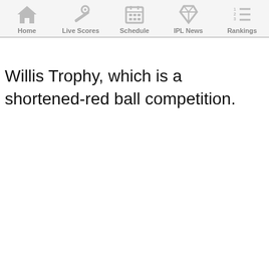Home | Live Scores | Schedule | IPL News | Rankings
Willis Trophy, which is a shortened-red ball competition.